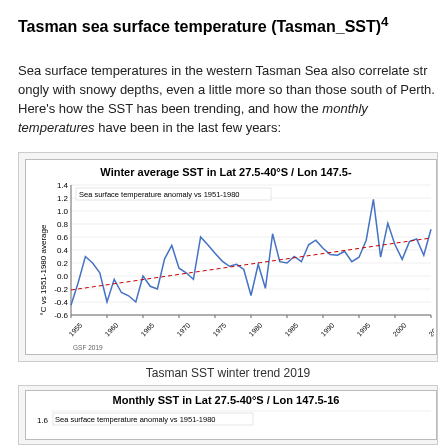Tasman sea surface temperature (Tasman_SST)4
Sea surface temperatures in the western Tasman Sea also correlate strongly with snowy depths, even a little more so than those south of Perth. Here's how the SST has been trending, and how the monthly temperatures have been in the last few years:
[Figure (continuous-plot): Line chart showing winter average sea surface temperature anomaly vs 1951-1980 baseline in the western Tasman Sea, from 1955 to approximately 2008. The line fluctuates with an overall upward trend shown by a dashed trendline. Values range from about -0.5 to +1.2°C. Legend: 'Sea surface temperature anomaly vs 1951-1980'. Attribution: GSF 2019.]
Tasman SST winter trend 2019
[Figure (continuous-plot): Partially visible line chart showing monthly sea surface temperature anomaly vs 1951-1980 baseline. Y-axis visible showing 1.6 and legend text 'Sea surface temperature anomaly vs 1951-1980'.]